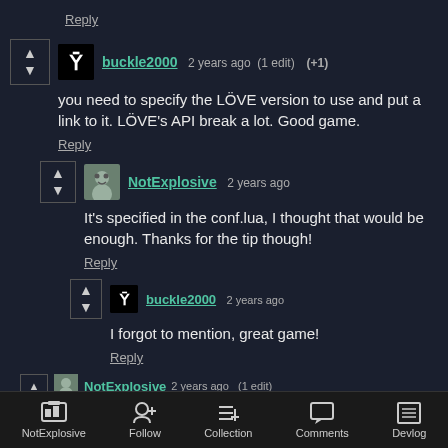Reply
buckle2000  2 years ago  (1 edit)  (+1)
you need to specify the LÖVE version to use and put a link to it. LÖVE's API break a lot. Good game.
Reply
NotExplosive  2 years ago
It's specified in the conf.lua, I thought that would be enough. Thanks for the tip though!
Reply
buckle2000  2 years ago
I forgot to mention, great game!
Reply
NotExplosive  2 years ago  (1 edit)
NotExplosive  Follow  Collection  Comments  Devlog